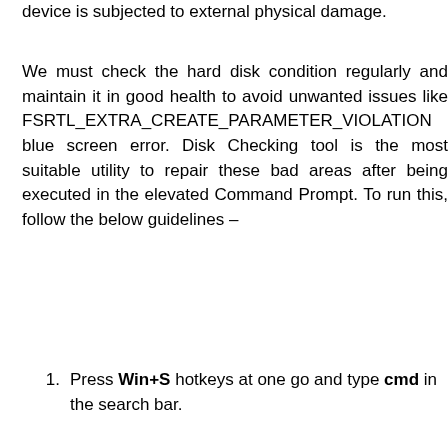device is subjected to external physical damage.
We must check the hard disk condition regularly and maintain it in good health to avoid unwanted issues like FSRTL_EXTRA_CREATE_PARAMETER_VIOLATION blue screen error. Disk Checking tool is the most suitable utility to repair these bad areas after being executed in the elevated Command Prompt. To run this, follow the below guidelines –
Press Win+S hotkeys at one go and type cmd in the search bar.